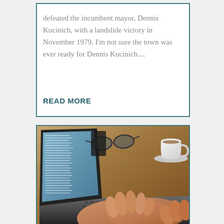defeated the incumbent mayor, Dennis Kucinich, with a landslide victory in November 1979. I'm not sure the town was ever ready for Dennis Kucinich....
READ MORE
[Figure (photo): Person's hands typing on a laptop keyboard. An open book or document is visible on the laptop screen. Glasses and a white coffee cup on a saucer are on the wooden desk in the background.]